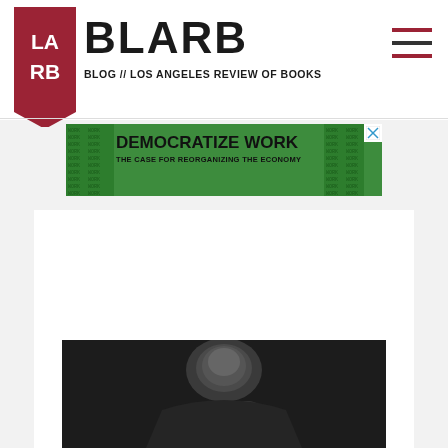[Figure (logo): LARB logo: dark red bookmark/pennant shape with white LA RB text]
BLARB
BLOG // LOS ANGELES REVIEW OF BOOKS
[Figure (other): Hamburger menu icon with three horizontal lines, top and bottom lines in dark red, middle line in dark/black]
[Figure (other): Advertisement banner: green background with text DEMOCRATIZE WORK / THE CASE FOR REORGANIZING THE ECONOMY, with decorative pattern borders on sides and close X button]
[Figure (photo): Black and white photograph of a bald man looking to the side, partially visible at bottom of page]